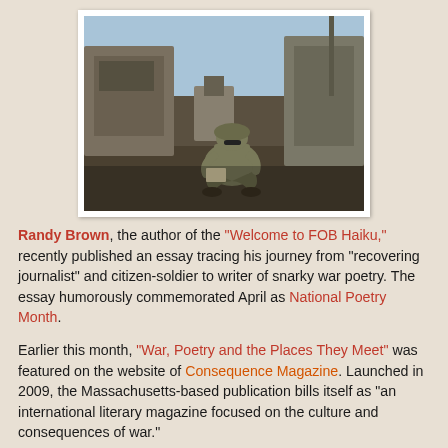[Figure (photo): A soldier in camouflage uniform sitting on military vehicle equipment, reading or writing, surrounded by military hardware]
Randy Brown, the author of the "Welcome to FOB Haiku," recently published an essay tracing his journey from "recovering journalist" and citizen-soldier to writer of snarky war poetry. The essay humorously commemorated April as National Poetry Month.
Earlier this month, "War, Poetry and the Places They Meet" was featured on the website of Consequence Magazine. Launched in 2009, the Massachusetts-based publication bills itself as "an international literary magazine focused on the culture and consequences of war."